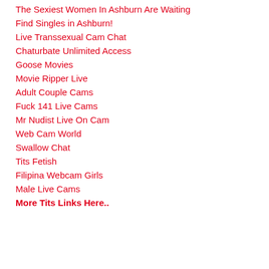The Sexiest Women In Ashburn Are Waiting
Find Singles in Ashburn!
Live Transsexual Cam Chat
Chaturbate Unlimited Access
Goose Movies
Movie Ripper Live
Adult Couple Cams
Fuck 141 Live Cams
Mr Nudist Live On Cam
Web Cam World
Swallow Chat
Tits Fetish
Filipina Webcam Girls
Male Live Cams
More Tits Links Here..